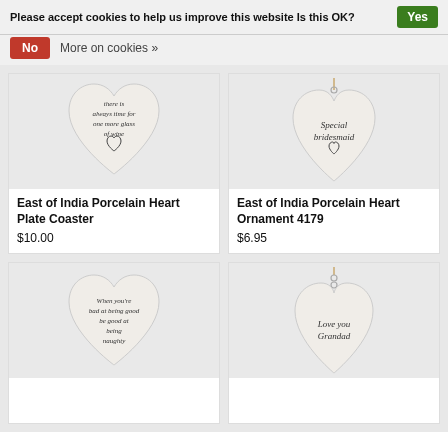Please accept cookies to help us improve this website Is this OK?
Yes
No
More on cookies »
[Figure (photo): White porcelain heart plate coaster with text: 'there is always time for one more glass of wine' and a small heart outline]
[Figure (photo): White porcelain heart ornament hanging on string with text: 'Special bridesmaid' and a small heart outline]
East of India Porcelain Heart Plate Coaster
$10.00
East of India Porcelain Heart Ornament 4179
$6.95
[Figure (photo): White porcelain heart plate coaster with text: 'When you're bad at being good be good at being naughty']
[Figure (photo): White porcelain heart ornament with text: 'Love You Grandad']